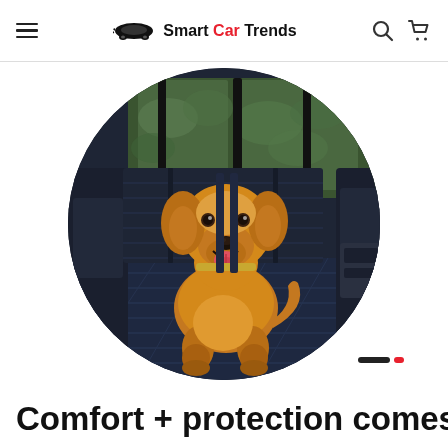Smart Car Trends — navigation header with hamburger menu, logo, search icon, cart icon
[Figure (photo): A golden retriever dog sitting on a navy blue quilted car seat cover in the back seat of a vehicle, shown in a circular crop. Green foliage visible through the car window in the background.]
Comfort + protection comes